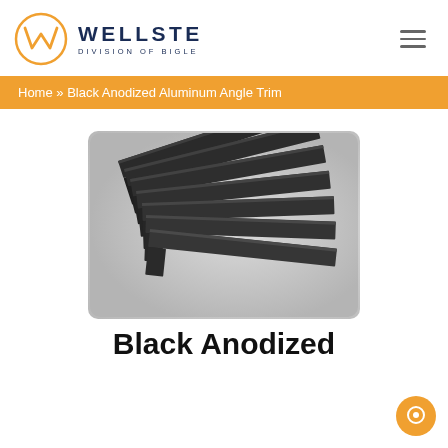WELLSTE DIVISION OF BIGLE
Home » Black Anodized Aluminum Angle Trim
[Figure (photo): Multiple black anodized aluminum angle trim pieces fanned out, showing L-shaped cross sections, displayed on a light grey gradient background.]
Black Anodized